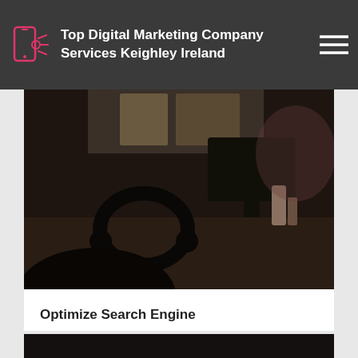Top Digital Marketing Company Services Keighley Ireland
[Figure (photo): Dark moody photo of a desk workspace with headphones, monitors, and office items in dim lighting]
Optimize Search Engine
Participating in the advancement of being in a position to have a digital agency, you need to. Top Digital Marketing Company Services Keighley Ireland